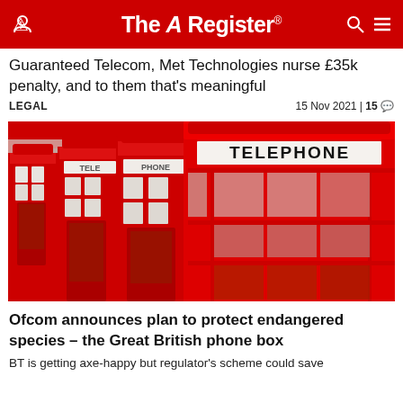The Register
Guaranteed Telecom, Met Technologies nurse £35k penalty, and to them that's meaningful
LEGAL   15 Nov 2021 | 15
[Figure (photo): Row of iconic red British telephone boxes, with 'TELEPHONE' sign visible on the nearest box]
Ofcom announces plan to protect endangered species – the Great British phone box
BT is getting axe-happy but regulator's scheme could save